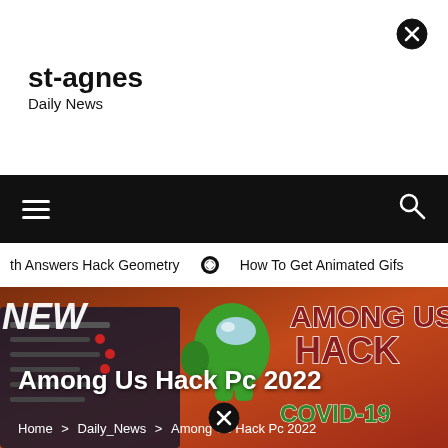st-agnes
Daily News
[Figure (screenshot): Navigation bar with hamburger menu icon on left and search icon on right, black background]
th Answers Hack Geometry  ⊙  How To Get Animated Gifs
[Figure (illustration): Among Us game character (green impostor) with 'AMONG US HACK' text overlay on orange-red background, COVID-19 text visible, with dark game screenshot on left]
Among Us Hack Pc 2022
Home > Daily_News > Among Us Hack Pc 2022